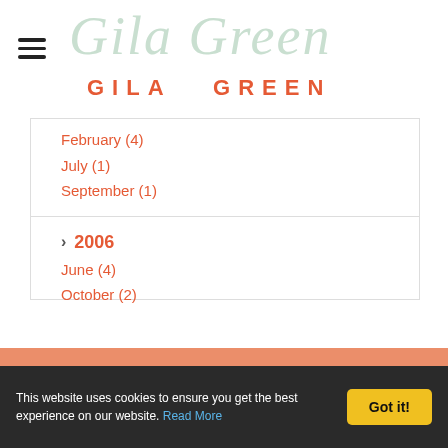[Figure (logo): Gila Green website logo with script text in pale green and bold caps in orange-red]
February (4)
July (1)
September (1)
2006
June (4)
October (2)
This website uses cookies to ensure you get the best experience on our website. Read More
Got it!